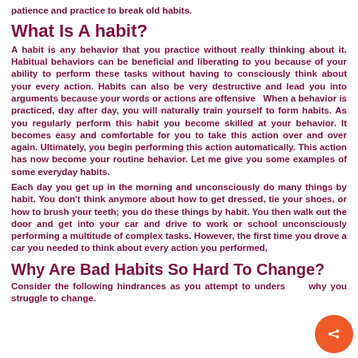patience and practice to break old habits.
What Is A habit?
A habit is any behavior that you practice without really thinking about it. Habitual behaviors can be beneficial and liberating to you because of your ability to perform these tasks without having to consciously think about your every action. Habits can also be very destructive and lead you into arguments because your words or actions are offensive  When a behavior is practiced, day after day, you will naturally train yourself to form habits. As you regularly perform this habit you become skilled at your behavior. It becomes easy and comfortable for you to take this action over and over again. Ultimately, you begin performing this action automatically. This action has now become your routine behavior. Let me give you some examples of some everyday habits.
Each day you get up in the morning and unconsciously do many things by habit. You don't think anymore about how to get dressed, tie your shoes, or how to brush your teeth; you do these things by habit. You then walk out the door and get into your car and drive to work or school unconsciously performing a multitude of complex tasks. However, the first time you drove a car you needed to think about every action you performed,
Why Are Bad Habits So Hard To Change?
Consider the following hindrances as you attempt to understand why you struggle to change.